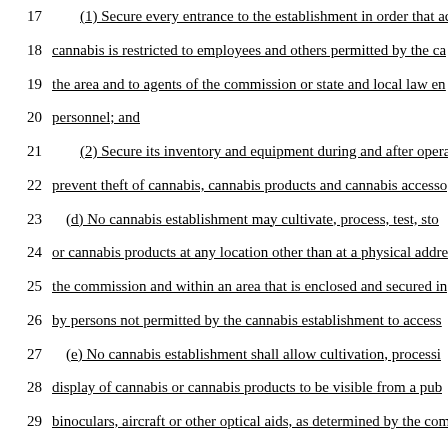17    (1) Secure every entrance to the establishment in order that ac-
18    cannabis is restricted to employees and others permitted by the ca-
19    the area and to agents of the commission or state and local law en-
20    personnel; and
21    (2) Secure its inventory and equipment during and after operat-
22    prevent theft of cannabis, cannabis products and cannabis accesso-
23    (d) No cannabis establishment may cultivate, process, test, sto-
24    or cannabis products at any location other than at a physical addre-
25    the commission and within an area that is enclosed and secured in-
26    by persons not permitted by the cannabis establishment to access
27    (e) No cannabis establishment shall allow cultivation, processi-
28    display of cannabis or cannabis products to be visible from a pub-
29    binoculars, aircraft or other optical aids, as determined by the com-
30    (f) No cannabis establishment shall refuse representatives of th-